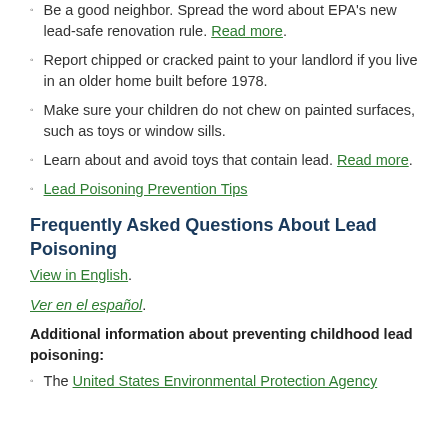Be a good neighbor. Spread the word about EPA's new lead-safe renovation rule. Read more.
Report chipped or cracked paint to your landlord if you live in an older home built before 1978.
Make sure your children do not chew on painted surfaces, such as toys or window sills.
Learn about and avoid toys that contain lead. Read more.
Lead Poisoning Prevention Tips
Frequently Asked Questions About Lead Poisoning
View in English.
Ver en el español.
Additional information about preventing childhood lead poisoning:
The United States Environmental Protection Agency